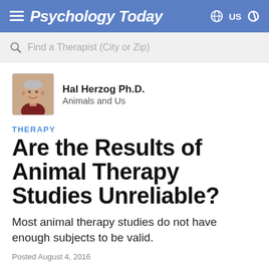Psychology Today
Find a Therapist (City or Zip)
[Figure (photo): Author photo of Hal Herzog Ph.D., an older man with gray hair, smiling, wearing a dark red shirt]
Hal Herzog Ph.D.
Animals and Us
THERAPY
Are the Results of Animal Therapy Studies Unreliable?
Most animal therapy studies do not have enough subjects to be valid.
Posted August 4, 2016